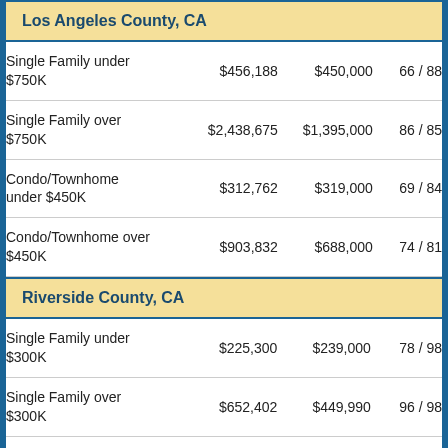Los Angeles County, CA
| Category | Avg Price | Median Price | Days/SP% |
| --- | --- | --- | --- |
| Single Family under $750K | $456,188 | $450,000 | 66 / 88 |
| Single Family over $750K | $2,438,675 | $1,395,000 | 86 / 85 |
| Condo/Townhome under $450K | $312,762 | $319,000 | 69 / 84 |
| Condo/Townhome over $450K | $903,832 | $688,000 | 74 / 81 |
Riverside County, CA
| Category | Avg Price | Median Price | Days/SP% |
| --- | --- | --- | --- |
| Single Family under $300K | $225,300 | $239,000 | 78 / 98 |
| Single Family over $300K | $652,402 | $449,990 | 96 / 98 |
| Condo/Townhome | $143,201 | $144,500 | 107 / 93 |